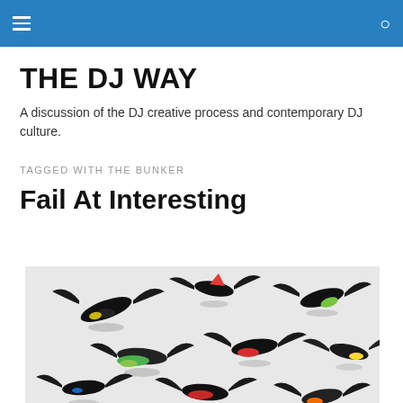THE DJ WAY — navigation bar with menu and search icons
THE DJ WAY
A discussion of the DJ creative process and contemporary DJ culture.
TAGGED WITH THE BUNKER
Fail At Interesting
[Figure (photo): Art installation photo showing colorful bird sculptures made from vinyl records and various materials, displayed against a white background. The birds appear to be in flight with black wings, accented with bright colors like yellow, red, green, and orange.]